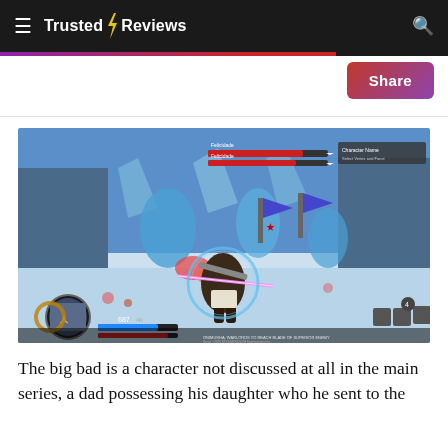Trusted Reviews
[Figure (screenshot): Video game screenshot showing an action battle scene with a character fighting on a snowy battlefield. HUD elements visible including health bars, stamina bar, character portrait, and battle text overlays.]
The big bad is a character not discussed at all in the main series, a dad possessing his daughter who he sent to the